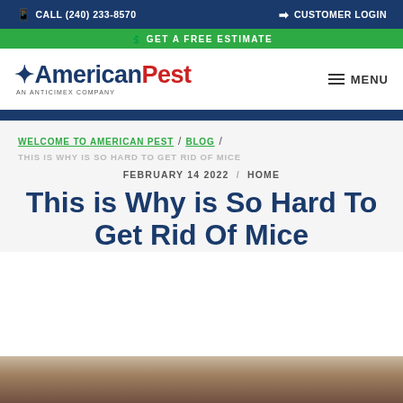CALL (240) 233-8570 | CUSTOMER LOGIN
GET A FREE ESTIMATE
[Figure (logo): AmericanPest logo — 'American' in dark blue, 'Pest' in red, with a red star icon, tagline 'AN ANTICIMEX COMPANY']
MENU
WELCOME TO AMERICAN PEST / BLOG / THIS IS WHY IS SO HARD TO GET RID OF MICE
FEBRUARY 14 2022 / HOME
This is Why is So Hard To Get Rid Of Mice
[Figure (photo): Close-up photo of a mouse or rodent fur/surface]